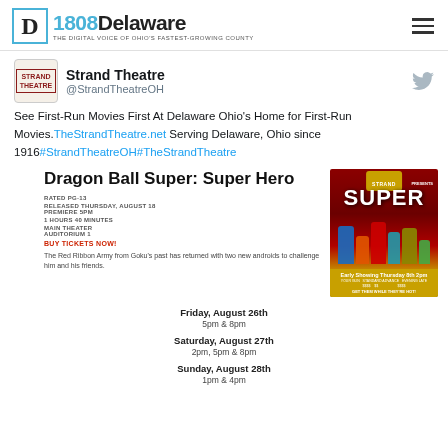1808Delaware — THE DIGITAL VOICE OF OHIO'S FASTEST-GROWING COUNTY
Strand Theatre @StrandTheatreOH
See First-Run Movies First At Delaware Ohio's Home for First-Run Movies. TheStrandTheatre.net Serving Delaware, Ohio since 1916#StrandTheatreOH#TheStrandTheatre
[Figure (other): Dragon Ball Super: Super Hero movie poster with Strand Theatre branding, red curtain background, characters, early showing Thursday 8th 2pm]
Dragon Ball Super: Super Hero
RATED PG-13
RELEASED THURSDAY, AUGUST 18
PREMIERE 5PM
1 HOURS 40 MINUTES
MAIN THEATER AUDITORIUM 1
BUY TICKETS NOW!
The Red Ribbon Army from Goku's past has returned with two new androids to challenge him and his friends.
Friday, August 26th
5pm & 8pm
Saturday, August 27th
2pm, 5pm & 8pm
Sunday, August 28th
1pm & 4pm